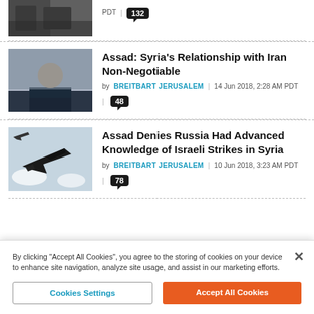[Figure (photo): Partial article thumbnail - people in dark clothing, cropped at top]
PDT | 132 [comment count]
[Figure (photo): Photo of Bashar al-Assad in a suit, gesturing with hands]
Assad: Syria's Relationship with Iran Non-Negotiable
by BREITBART JERUSALEM | 14 Jun 2018, 2:28 AM PDT | 48
[Figure (photo): Military jet fighter aircraft flying against a sky background]
Assad Denies Russia Had Advanced Knowledge of Israeli Strikes in Syria
by BREITBART JERUSALEM | 10 Jun 2018, 3:23 AM PDT | 78
By clicking "Accept All Cookies", you agree to the storing of cookies on your device to enhance site navigation, analyze site usage, and assist in our marketing efforts.
Cookies Settings
Accept All Cookies